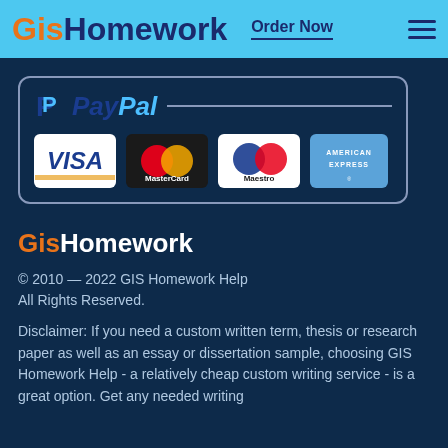GisHomework  Order Now
[Figure (logo): Payment methods panel showing PayPal, Visa, MasterCard, Maestro, and American Express logos in a rounded rectangle border]
GisHomework
© 2010 — 2022 GIS Homework Help
All Rights Reserved.
Disclaimer: If you need a custom written term, thesis or research paper as well as an essay or dissertation sample, choosing GIS Homework Help - a relatively cheap custom writing service - is a great option. Get any needed writing